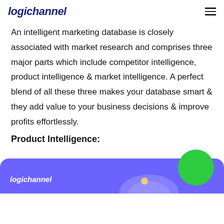logichannel
An intelligent marketing database is closely associated with market research and comprises three major parts which include competitor intelligence, product intelligence & market intelligence. A perfect blend of all these three makes your database smart & they add value to your business decisions & improve profits effortlessly.
Product Intelligence:
[Figure (illustration): Bottom banner with logichannel branding on a purple/indigo background, a large green circle in the upper right, a yellow dot, and a decorative wave shape.]